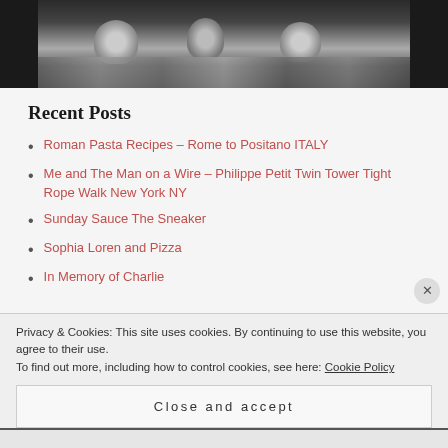[Figure (photo): Black and white photograph showing people, partial view at top of page]
Recent Posts
Roman Pasta Recipes – Rome to Positano ITALY
Me and The Man on a Wire – Philippe Petit Twin Tower Tight Rope Walk New York NY
Sunday Sauce The Sneaker
Sophia Loren and Pizza
In Memory of Charlie
Privacy & Cookies: This site uses cookies. By continuing to use this website, you agree to their use.
To find out more, including how to control cookies, see here: Cookie Policy
Close and accept